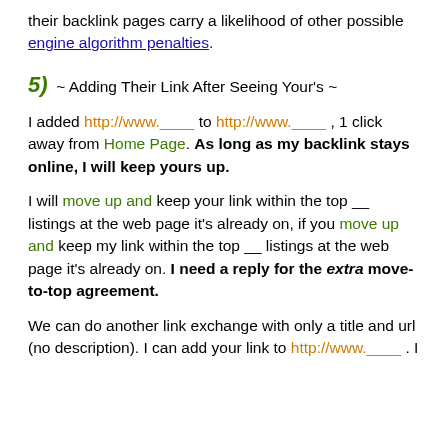their backlink pages carry a likelihood of other possible engine algorithm penalties.
5)  ~ Adding Their Link After Seeing Your's ~
I added http://www.____ to http://www.____ , 1 click away from Home Page. As long as my backlink stays online, I will keep yours up.
I will move up and keep your link within the top __ listings at the web page it's already on, if you move up and keep my link within the top __ listings at the web page it's already on. I need a reply for the extra move-to-top agreement.
We can do another link exchange with only a title and url (no description). I can add your link to http://www.____ . I